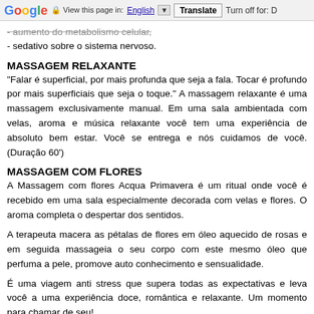Google  View this page in: English [▼]  Translate  Turn off for: D
- aumento do metabolismo celular,
- sedativo sobre o sistema nervoso.
MASSAGEM RELAXANTE
"Falar é superficial, por mais profunda que seja a fala. Tocar é profundo por mais superficiais que seja o toque." A massagem relaxante é uma massagem exclusivamente manual. Em uma sala ambientada com velas, aroma e música relaxante você tem uma experiência de absoluto bem estar. Você se entrega e nós cuidamos de você. (Duração 60')
MASSAGEM COM FLORES
A Massagem com flores Acqua Primavera é um ritual onde você é recebido em uma sala especialmente decorada com velas e flores. O aroma completa o despertar dos sentidos.
A terapeuta macera as pétalas de flores em óleo aquecido de rosas e em seguida massageia o seu corpo com este mesmo óleo que perfuma a pele, promove auto conhecimento e sensualidade.
É uma viagem anti stress que supera todas as expectativas e leva você a uma experiência doce, romântica e relaxante. Um momento para chamar de seu!